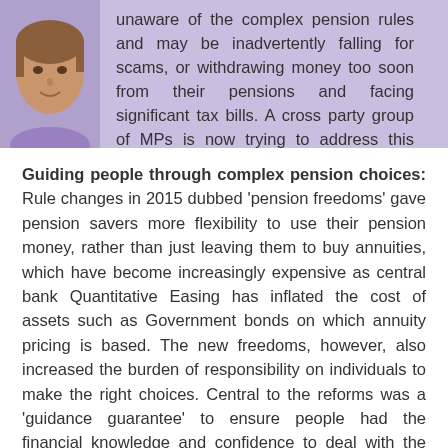[Figure (photo): Partial view of a woman's face/portrait photo in the upper left corner, with a purple/lavender tinted background banner]
unaware of the complex pension rules and may be inadvertently falling for scams, or withdrawing money too soon from their pensions and facing significant tax bills. A cross party group of MPs is now trying to address this more seriously.
Guiding people through complex pension choices: Rule changes in 2015 dubbed ‘pension freedoms’ gave pension savers more flexibility to use their pension money, rather than just leaving them to buy annuities, which have become increasingly expensive as central bank Quantitative Easing has inflated the cost of assets such as Government bonds on which annuity pricing is based. The new freedoms, however, also increased the burden of responsibility on individuals to make the right choices. Central to the reforms was a ‘guidance guarantee’ to ensure people had the financial knowledge and confidence to deal with the extra risks, with free, impartial